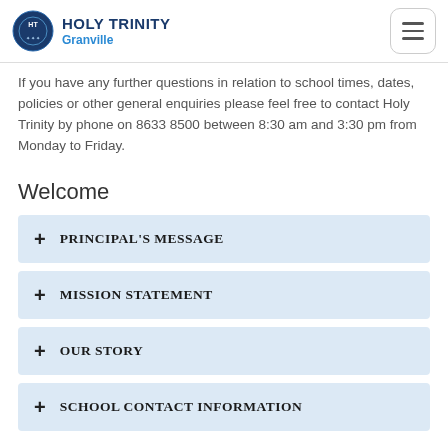HOLY TRINITY Granville
If you have any further questions in relation to school times, dates, policies or other general enquiries please feel free to contact Holy Trinity by phone on 8633 8500 between 8:30 am and 3:30 pm from Monday to Friday.
Welcome
+ PRINCIPAL'S MESSAGE
+ MISSION STATEMENT
+ OUR STORY
+ SCHOOL CONTACT INFORMATION